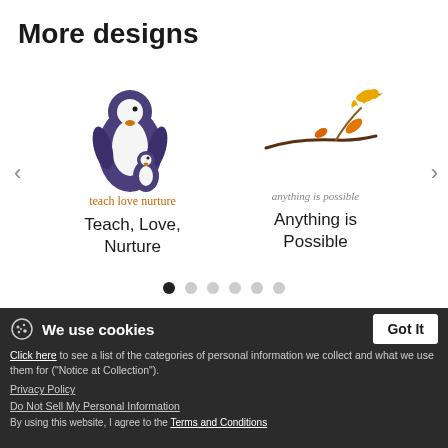More designs
[Figure (illustration): Two product design cards in a carousel. Left card: illustration of a large penguin and small penguin (purple/navy) with cursive text 'teach love nurture' below. Label: 'Teach, Love, Nurture'. Right card: illustration of a bird flying above an autumn tree branch with orange leaves, with cursive script below. Label: 'Anything is Possible'. Carousel navigation arrows on left and right sides. Six pagination dots below (first dot filled/active, rest empty).]
Teach, Love, Nurture
Anything is Possible
We use cookies  Got It  Click here to see a list of the categories of personal information we collect and what we use them for ("Notice at Collection").  Privacy Policy  Do Not Sell My Personal Information  By using this website, I agree to the Terms and Conditions  Legal Info  United States  Terms & Conditions  Shipping costs and shipping times  Copyright information